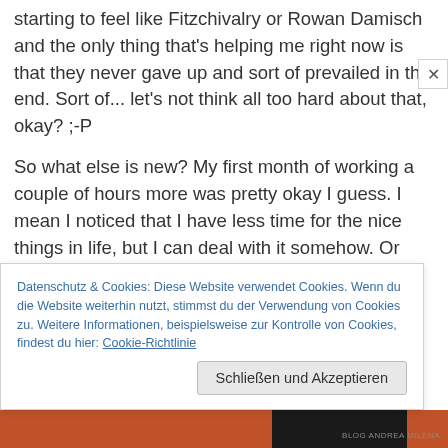starting to feel like Fitzchivalry or Rowan Damisch and the only thing that's helping me right now is that they never gave up and sort of prevailed in the end. Sort of... let's not think all too hard about that, okay? ;-P
So what else is new? My first month of working a couple of hours more was pretty okay I guess. I mean I noticed that I have less time for the nice things in life, but I can deal with it somehow. Or rather I can deal with it because by now there's coffee running through my veins instead of blood? *lol* I think I'm not even kidding. ;-P I mean I'm either typing my reviews and blog posts at night (like this
Datenschutz & Cookies: Diese Website verwendet Cookies. Wenn du die Website weiterhin nutzt, stimmst du der Verwendung von Cookies zu. Weitere Informationen, beispielsweise zur Kontrolle von Cookies, findest du hier: Cookie-Richtlinie
Schließen und Akzeptieren